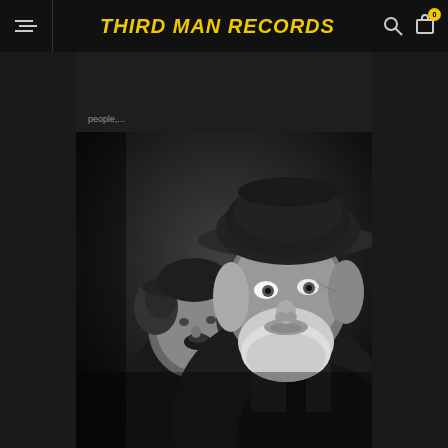THIRD MAN RECORDS
people,...
[Figure (photo): Black and white photo of two men wearing wide-brimmed hats. The man on the right, in the foreground, has a white beard and is looking off to the right. The man on the left, in the background, has curly hair and appears to be laughing or smiling with mouth open.]